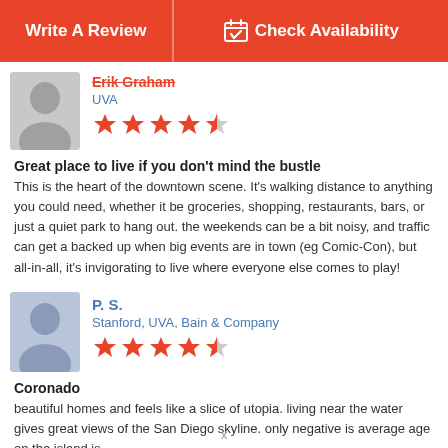Write A Review | Check Availability
Erik Graham
UVA
4.5 stars
Great place to live if you don't mind the bustle
This is the heart of the downtown scene. It's walking distance to anything you could need, whether it be groceries, shopping, restaurants, bars, or just a quiet park to hang out. the weekends can be a bit noisy, and traffic can get a backed up when big events are in town (eg Comic-Con), but all-in-all, it's invigorating to live where everyone else comes to play!
P. S.
Stanford, UVA, Bain & Company
4.5 stars
Coronado
beautiful homes and feels like a slice of utopia. living near the water gives great views of the San Diego skyline. only negative is average age on the island is